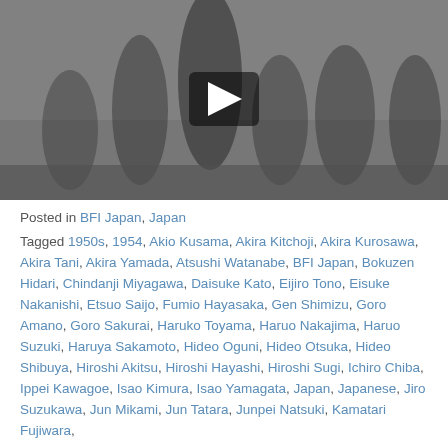[Figure (photo): Black and white film still showing samurai figures standing in a field, with a video play button overlay. From the film Seven Samurai (1954).]
Posted in BFI Japan, Japan
Tagged 1950s, 1954, Akio Kusama, Akira Kitchoji, Akira Kurosawa, Akira Tani, Akira Yamada, Atsushi Watanabe, BFI Japan, Bokuzen Hidari, Chindanji Miyagawa, Daisuke Kato, Eijiro Tono, Eisuke Nakanishi, Etsuo Saijo, Fumio Hayasaka, Gen Shimizu, Goro Amano, Goro Sakurai, Haruko Toyama, Haruo Nakajima, Haruo Suzuki, Haruya Sakamoto, Hideo Oguni, Hideo Otsuka, Hideo Shibuya, Hiroshi Akitsu, Hiroshi Hayashi, Hiroshi Sugi, Ichiro Chiba, Ippei Kawagoe, Isao Kimura, Isao Yamagata, Japan, Japanese, Jiro Suzukawa, Jun Mikami, Jun Tatara, Junpei Natsuki, Kamatari Fujiwara, Kenjiro Tsubokami, Kenji Honda, Kenji Inokuchi, Kenji Sakakami, Koji Uno, Kokuten Kodo, Ku